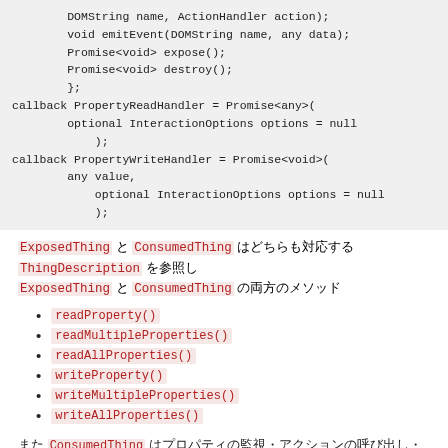DOMString name, ActionHandler action);
        void emitEvent(DOMString name, any data);
        Promise<void> expose();
        Promise<void> destroy();
        };
callback PropertyReadHandler = Promise<any>(
        optional InteractionOptions options = null
            );
callback PropertyWriteHandler = Promise<void>(
        any value,
            optional InteractionOptions options = null
            );
ExposedThing と ConsumedThing はどちらも対応する ThingDescription を参照し ExposedThing と ConsumedThing の両方のメソッド
readProperty()
readMultipleProperties()
readAllProperties()
writeProperty()
writeMultipleProperties()
writeAllProperties()
また ConsumedThing はプロパティの監視・アクションの呼び出し・イベントの購読といった操作を提供します
ExposedThing と ConsumedThing の比較表 ExposedThing の方が…